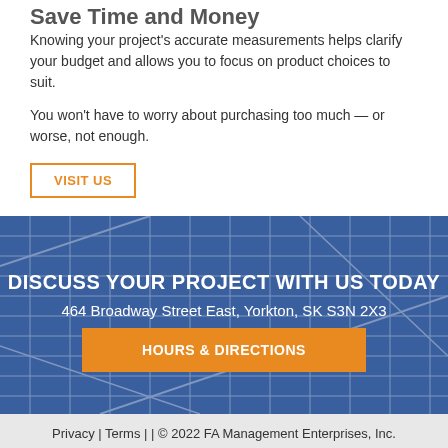Save Time and Money
Knowing your project's accurate measurements helps clarify your budget and allows you to focus on product choices to suit.
You won't have to worry about purchasing too much — or worse, not enough.
VISIT US
DISCUSS YOUR PROJECT WITH US TODAY
464 Broadway Street East,  Yorkton, SK S3N 2X3
HOURS & DIRECTIONS
Privacy  |  Terms  |   |  © 2022 FA Management Enterprises, Inc.